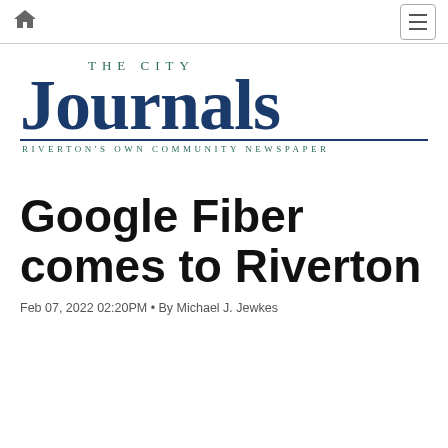Home | Menu
[Figure (logo): The City Journals — Riverton's Own Community Newspaper logo, with large serif 'Journals' in dark navy and 'THE CITY' in teal above, tagline below in teal small caps]
Google Fiber comes to Riverton
Feb 07, 2022 02:20PM • By Michael J. Jewkes